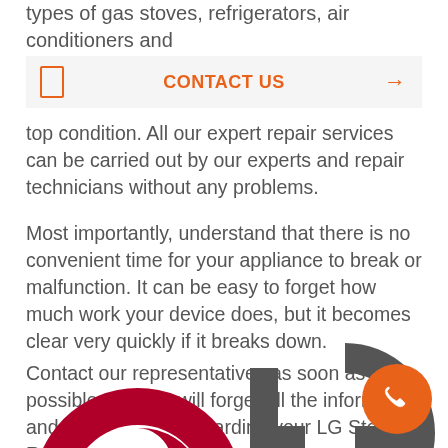types of gas stoves, refrigerators, air conditioners and
top condition. All our expert repair services can be carried out by our experts and repair technicians without any problems.
Most importantly, understand that there is no convenient time for your appliance to break or malfunction. It can be easy to forget how much work your device does, but it becomes clear very quickly if it breaks down.
Contact our representatives as soon as possible and you will forget all the information and tips you need regarding your LG Stove Repair Glendale.
[Figure (logo): LG logo partially visible at the bottom of the page with an orange phone button in the bottom right corner]